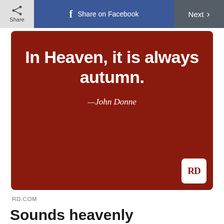Share  Share on Facebook  Next >
[Figure (illustration): Dark red/maroon quote card with white bold text reading 'In Heaven, it is always autumn.' attributed to John Donne, with RD logo in bottom right corner]
RD.COM
Sounds heavenly